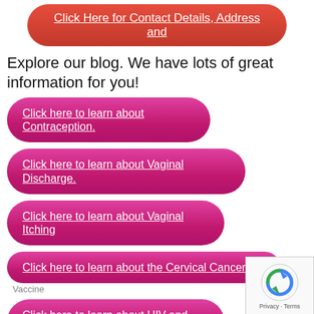Click Here for Contact Details, Address and
Explore our blog. We have lots of great information for you!
Click here to learn about Contraception.
Click here to learn about Vaginal Discharge.
Click here to learn about Vaginal Itching
Click here to learn about the Cervical Cancer Vaccine
Click here to learn about HIV and STDs
Click here to learn about Abnormal Vaginal
and much more!
Appointment Request